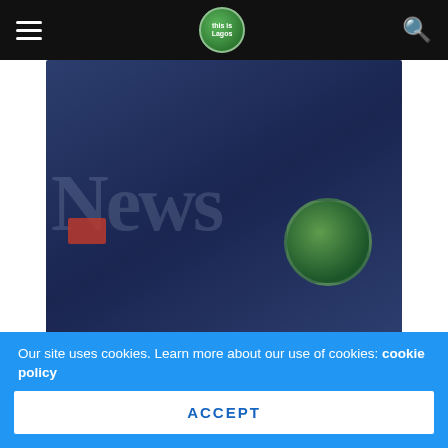This is Lagos — navigation header with hamburger menu, logo, and search icon
[Figure (photo): Dark blue-toned news hero image with large faded 'News' text watermark, a red block element, and a circular green logo overlay on the right side]
Dispatch rider, one other killed as hoodlums clash in Fadeyi (Nation)
Two persons were confirmed dead on Wednesday when a fight broke out at Fadeyi, Ikorodu road area of Lagos State among hoodlums popularly called 'area boys'. The Nation gathered
Our site uses cookies. Learn more about our use of cookies: cookie policy
ACCEPT